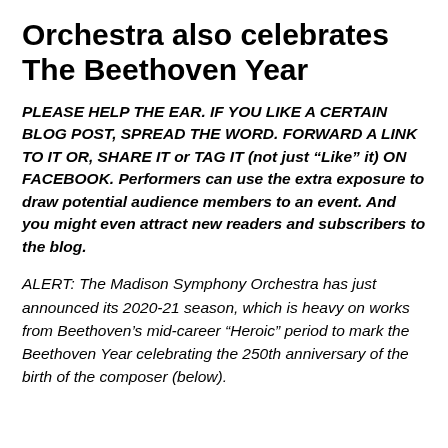Orchestra also celebrates The Beethoven Year
PLEASE HELP THE EAR. IF YOU LIKE A CERTAIN BLOG POST, SPREAD THE WORD. FORWARD A LINK TO IT OR, SHARE IT or TAG IT (not just “Like” it) ON FACEBOOK. Performers can use the extra exposure to draw potential audience members to an event. And you might even attract new readers and subscribers to the blog.
ALERT: The Madison Symphony Orchestra has just announced its 2020-21 season, which is heavy on works from Beethoven’s mid-career “Heroic” period to mark the Beethoven Year celebrating the 250th anniversary of the birth of the composer (below).